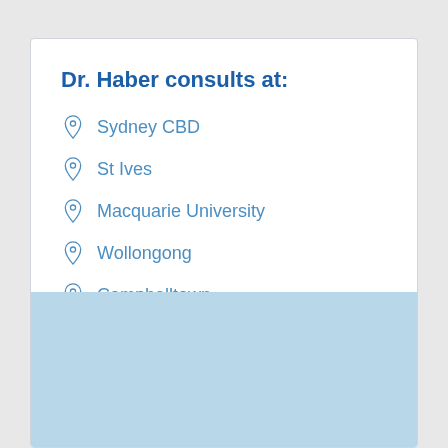Dr. Haber consults at:
Sydney CBD
St Ives
Macquarie University
Wollongong
Campbelltown
[Figure (other): Light blue rectangular area at the bottom of the card, likely a map or decorative block]